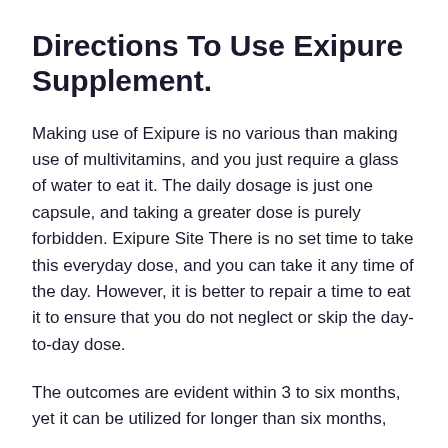Directions To Use Exipure Supplement.
Making use of Exipure is no various than making use of multivitamins, and you just require a glass of water to eat it. The daily dosage is just one capsule, and taking a greater dose is purely forbidden. Exipure Site There is no set time to take this everyday dose, and you can take it any time of the day. However, it is better to repair a time to eat it to ensure that you do not neglect or skip the day-to-day dose.
The outcomes are evident within 3 to six months, yet it can be utilized for longer than six months,